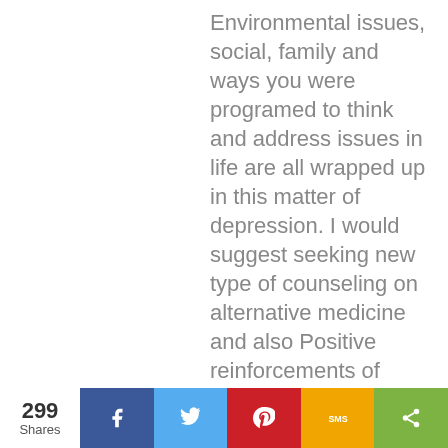Environmental issues, social, family and ways you were programed to think and address issues in life are all wrapped up in this matter of depression. I would suggest seeking new type of counseling on alternative medicine and also Positive reinforcements of thinking ( thought processes) mediation, fasting is a start. Clean your cup inside and out. Your senses have a lot to do with contaminating you
299 Shares | Facebook | Twitter | Pinterest | SMS | Share